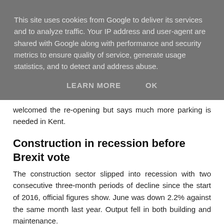This site uses cookies from Google to deliver its services and to analyze traffic. Your IP address and user-agent are shared with Google along with performance and security metrics to ensure quality of service, generate usage statistics, and to detect and address abuse.
LEARN MORE    OK
welcomed the re-opening but says much more parking is needed in Kent.
Construction in recession before Brexit vote
The construction sector slipped into recession with two consecutive three-month periods of decline since the start of 2016, official figures show. June was down 2.2% against the same month last year. Output fell in both building and maintenance.
Further reductions are forecast following the Brexit vote.
Comment: j.semple@rha.uk.net.